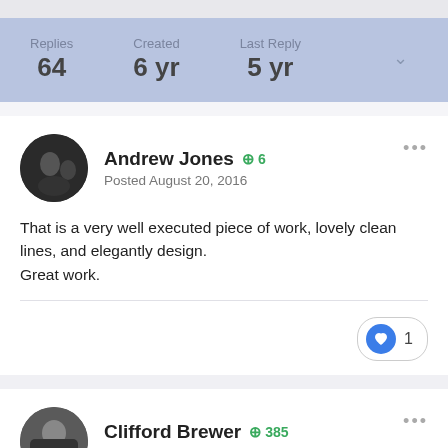Replies 64 | Created 6 yr | Last Reply 5 yr
Andrew Jones +6
Posted August 20, 2016
That is a very well executed piece of work, lovely clean lines, and elegantly design.
Great work.
♥ 1
Clifford Brewer +385
Posted August 20, 2016